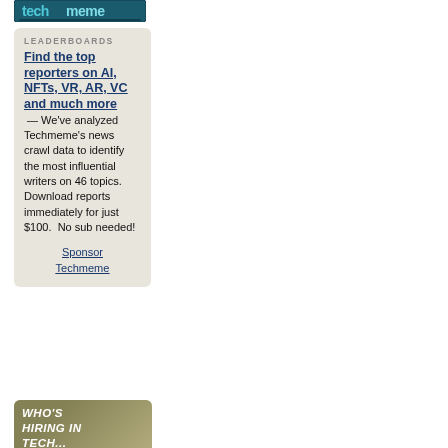[Figure (logo): Techmeme logo — teal/dark teal wordmark with white text on dark background]
LEADERBOARDS
Find the top reporters on AI, NFTs, VR, AR, VC and much more — We've analyzed Techmeme's news crawl data to identify the most influential writers on 46 topics. Download reports immediately for just $100.  No sub needed!
Sponsor Techmeme
[Figure (illustration): WHO'S HIRING IN TECH banner — olive/khaki coloured background with bold italic white text]